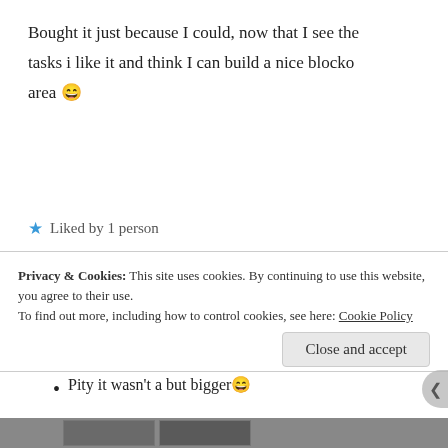Bought it just because I could, now that I see the tasks i like it and think I can build a nice blocko area 😄
★ Liked by 1 person
Keith1Roon991 | June 14, 2019 at 2:44 pm | Reply
[Figure (photo): Avatar image of a colorful artistic portrait, pop-art style face with glasses]
Pity it wasn't a but bigger 😄
Privacy & Cookies: This site uses cookies. By continuing to use this website, you agree to their use.
To find out more, including how to control cookies, see here: Cookie Policy
Close and accept